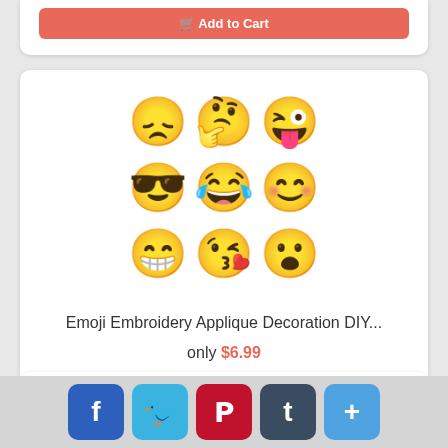[Figure (photo): Add to Cart button (partial, top of page)]
[Figure (photo): 3x3 grid of emoji faces: sad, thinking/phone, tongue-out wink, sunglasses, laughing-crying, smiling, grinning, kissing, surprised]
Emoji Embroidery Applique Decoration DIY...
only $6.99
View
Add to Cart
[Figure (photo): Partial product image at bottom, appears to show a zipper or metallic accessory]
Facebook Twitter Pinterest Tumblr More (social share buttons)